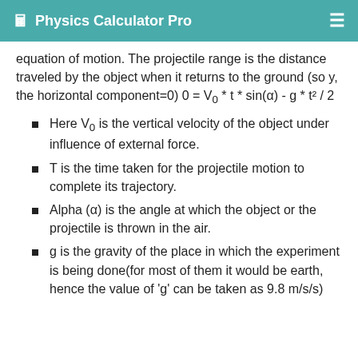Physics Calculator Pro
equation of motion. The projectile range is the distance traveled by the object when it returns to the ground (so y, the horizontal component=0) 0 = V₀ * t * sin(α) - g * t² / 2
Here V₀ is the vertical velocity of the object under influence of external force.
T is the time taken for the projectile motion to complete its trajectory.
Alpha (α) is the angle at which the object or the projectile is thrown in the air.
g is the gravity of the place in which the experiment is being done(for most of them it would be earth, hence the value of 'g' can be taken as 9.8 m/s/s)